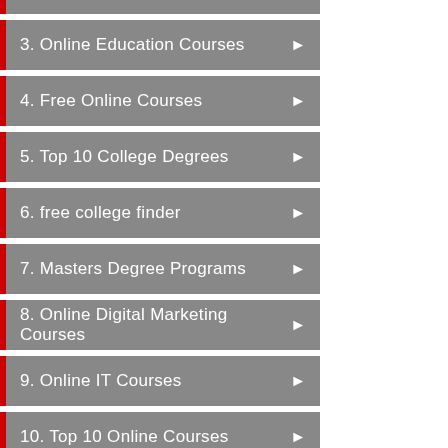3.  Online Education Courses
4.  Free Online Courses
5.  Top 10 College Degrees
6.  free college finder
7.  Masters Degree Programs
8.  Online Digital Marketing Courses
9.  Online IT Courses
10. Top 10 Online Courses